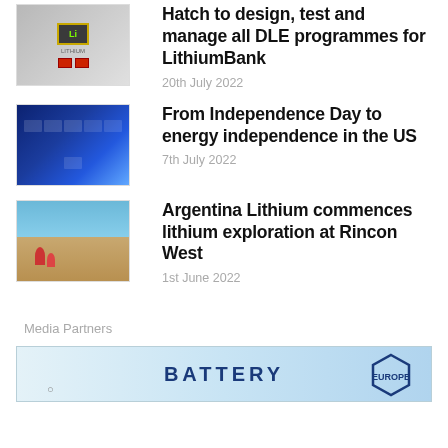[Figure (photo): Thumbnail image of lithium battery cells with Li label and yellow border]
Hatch to design, test and manage all DLE programmes for LithiumBank
20th July 2022
[Figure (photo): Thumbnail image of blue battery cells or lithium material close-up]
From Independence Day to energy independence in the US
7th July 2022
[Figure (photo): Thumbnail image of people on rocky/salt flat terrain, Argentina landscape]
Argentina Lithium commences lithium exploration at Rincon West
1st June 2022
Media Partners
[Figure (logo): Battery industry media partner banner with BATTERY text and hexagonal logo]